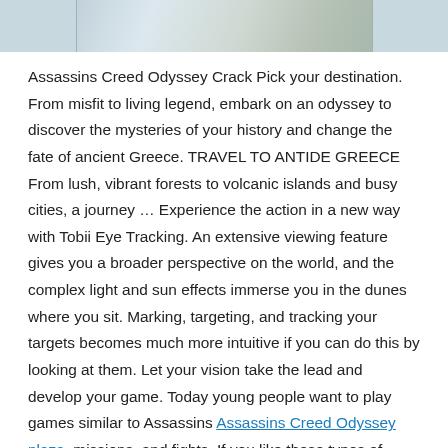[Figure (photo): Partial image of a wolf or animal figure visible at the top of the page, cropped]
Assassins Creed Odyssey Crack Pick your destination. From misfit to living legend, embark on an odyssey to discover the mysteries of your history and change the fate of ancient Greece. TRAVEL TO ANTIDE GREECE From lush, vibrant forests to volcanic islands and busy cities, a journey … Experience the action in a new way with Tobii Eye Tracking. An extensive viewing feature gives you a broader perspective on the world, and the complex light and sun effects immerse you in the dunes where you sit. Marking, targeting, and tracking your targets becomes much more intuitive if you can do this by looking at them. Let your vision take the lead and develop your game. Today young people want to play games similar to Assassins Assassins Creed Odyssey plaza, missions, and fights. If you like these types of games and you are one of them, then I'm sure you enjoyed this game of Assassin's Creed Odyssey.